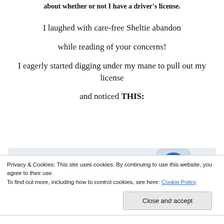about whether or not I have a driver's license.
I laughed with care-free Sheltie abandon
while reading of your concerns!
I eagerly started digging under my mane to pull out my license
and noticed THIS:
[Figure (screenshot): Ad banner showing 'the go.' in large bold blue text and 'GET THE APP' button with WordPress logo]
Privacy & Cookies: This site uses cookies. By continuing to use this website, you agree to their use. To find out more, including how to control cookies, see here: Cookie Policy
Close and accept